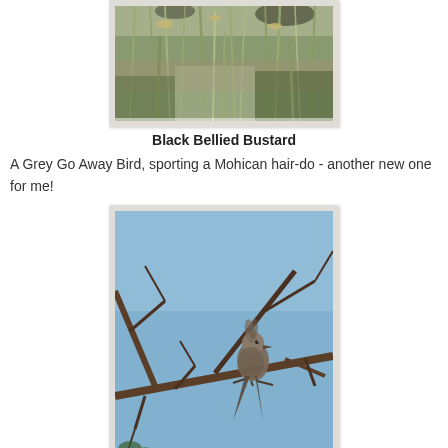[Figure (photo): Photo of a Black Bellied Bustard camouflaged in tall grass and vegetation]
Black Bellied Bustard
A Grey Go Away Bird, sporting a Mohican hair-do - another new one for me!
[Figure (photo): Photo of a Grey Go Away Bird with mohican crest perched on a bare tree branch against a blue sky]